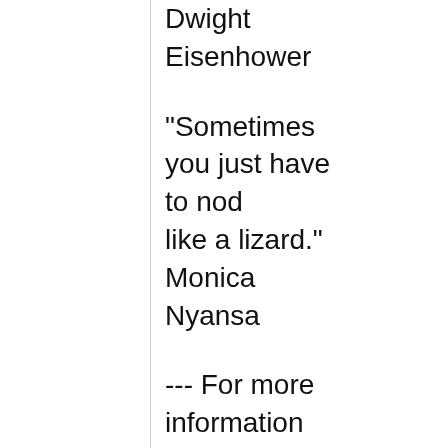Dwight Eisenhower
"Sometimes you just have to nod like a lizard." Monica Nyansa
--- For more information about the DCHAS-L e-mail list, contact the Divisional membership chair at membership**At_Symbol_Here**dchas.org Follow us on Twitter **At_Symbol_Here**acsdchas --- For more information about the DCHAS-L e-